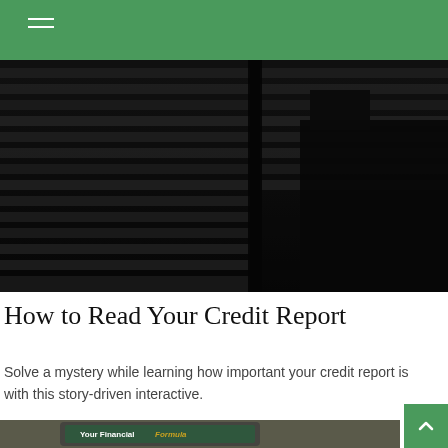[Figure (photo): Dark silhouette photo of window blinds and chair shadows in a dimly lit room]
How to Read Your Credit Report
Solve a mystery while learning how important your credit report is with this story-driven interactive.
[Figure (photo): Tablet device showing 'Your Financial Formula' text on a dark green background, placed on an outdoor surface]